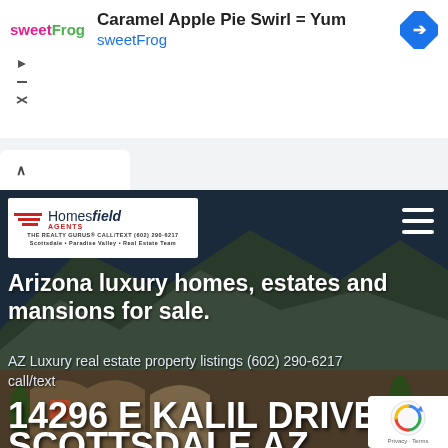[Figure (screenshot): Advertisement banner for sweetFrog frozen yogurt with text 'Caramel Apple Pie Swirl = Yum' and Google Maps navigation icon]
Caramel Apple Pie Swirl = Yum
sweetFrog
[Figure (screenshot): Browser tab bar with active tab showing chevron icon]
[Figure (photo): Hero image of Arizona luxury mansion with mountain backdrop at dusk, with Homesfield Agents / The Realty Gurus logo and hamburger menu]
Arizona luxury homes, estates and mansions for sale.
AZ Luxury real estate property listings (602) 290-6217 call/text
14296 E KALIL DRIVE SCOTTSDALE AZ